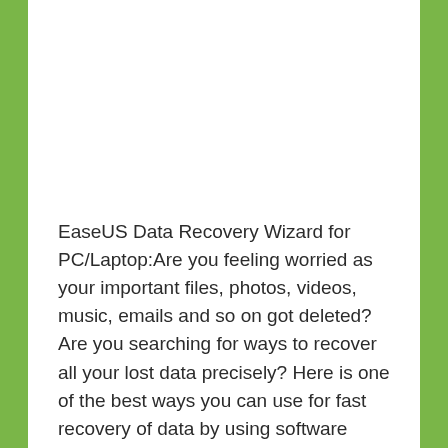EaseUS Data Recovery Wizard for PC/Laptop:Are you feeling worried as your important files, photos, videos, music, emails and so on got deleted? Are you searching for ways to recover all your lost data precisely? Here is one of the best ways you can use for fast recovery of data by using software called EaseUS Data Recovery Wizard.
This website uses cookies to ensure you get
Privacy & Cookies: This site uses cookies. By continuing to use this website, you agree to their use.
To find out more, including how to control cookies, see here: Cookie Policy
Close and accept